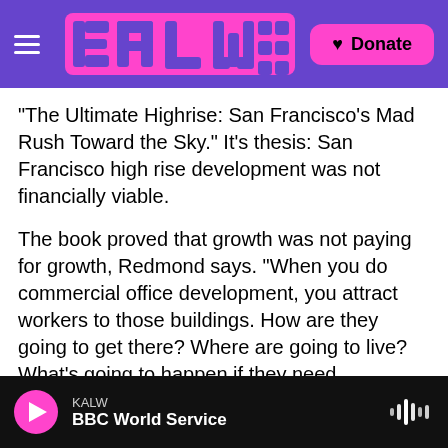KALW (logo) | Donate
“The Ultimate Highrise: San Francisco's Mad Rush Toward the Sky.” It’s thesis: San Francisco high rise development was not financially viable.
The book proved that growth was not paying for growth, Redmond says. “When you do commercial office development, you attract workers to those buildings. How are they going to get there? Where are going to live?  What’s going to happen if they need emergency services? And who’s going to pay for all of that?” Not the developers, he adds.
KALW | BBC World Service